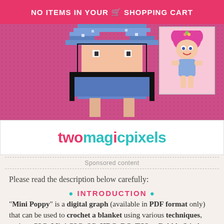NO ITEMS IN YOUR SHOPPING CART
[Figure (illustration): Pixel art of a troll character (Mini Poppy) on pink background with a small cartoon troll image overlay on the right]
[Figure (logo): twomagicpixels logo in teal and pink colors]
Sponsored content
Please read the description below carefully:
• INTRODUCTION •
"Mini Poppy" is a digital graph (available in PDF format only) that can be used to crochet a blanket using various techniques, such as C2C, Mini C2C, SC, HDC, DC, TSS or Bobble Stitch